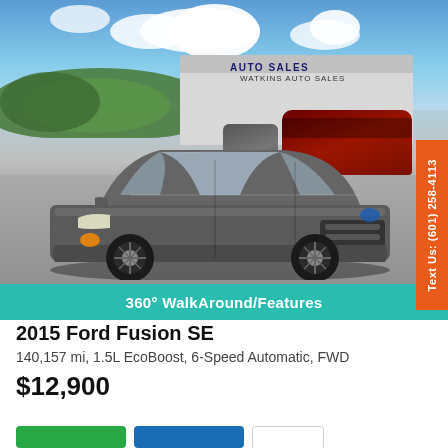[Figure (photo): A gray 2015 Ford Fusion SE parked in a car dealership lot with other vehicles and a building with 'Auto Sales' sign in the background. Blue sky with clouds above.]
360° WalkAround/Features
2015 Ford Fusion SE
140,157 mi, 1.5L EcoBoost, 6-Speed Automatic, FWD
$12,900